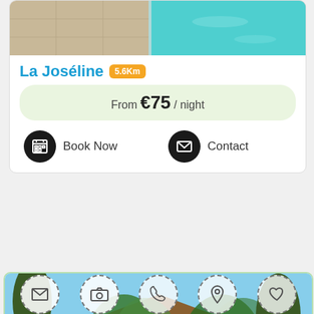[Figure (photo): Top of page: partial view of pool/terrace photo cut off at top]
La Joséline 5.6Km
From €75 / night
Book Now
Contact
[Figure (photo): Stone farmhouse covered in ivy with trees, courtyard with gravel driveway, sunny day]
Domaine L'Helion Bastidon 4,
From €90 / night